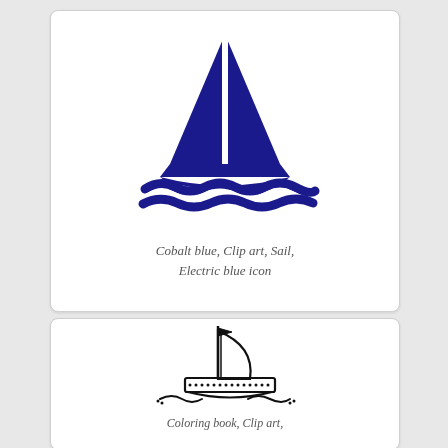[Figure (illustration): Cobalt blue silhouette of a sailboat with two sails and wavy water lines below]
Cobalt blue, Clip art, Sail, Electric blue icon
[Figure (illustration): Black outline drawing of a sailboat with flag, dotted hull, and wavy water lines below]
Coloring book, Clip art,